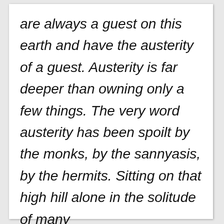are always a guest on this earth and have the austerity of a guest. Austerity is far deeper than owning only a few things. The very word austerity has been spoilt by the monks, by the sannyasis, by the hermits. Sitting on that high hill alone in the solitude of many